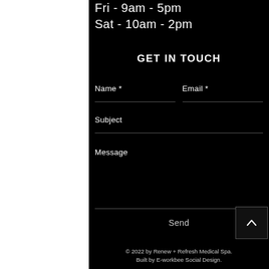Fri - 9am - 5pm
Sat - 10am - 2pm
GET IN TOUCH
Name *
Email *
Subject
Message
Send
© 2022 by Renew + Refresh Medical Spa. Built by E-workbee Social Design.